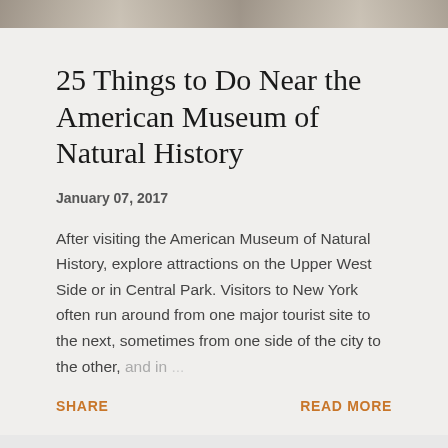[Figure (photo): Cropped top portion of a photograph showing a hallway or corridor interior, likely inside a museum, with perspective lines receding into the background.]
25 Things to Do Near the American Museum of Natural History
January 07, 2017
After visiting the American Museum of Natural History, explore attractions on the Upper West Side or in Central Park. Visitors to New York often run around from one major tourist site to the next, sometimes from one side of the city to the other, and in ...
SHARE
READ MORE